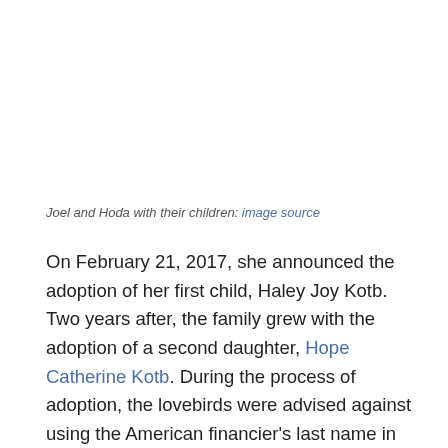[Figure (photo): Photo of Joel and Hoda with their children (image area, appears blank/white in this view)]
Joel and Hoda with their children: image source
On February 21, 2017, she announced the adoption of her first child, Haley Joy Kotb. Two years after, the family grew with the adoption of a second daughter, Hope Catherine Kotb. During the process of adoption, the lovebirds were advised against using the American financier's last name in the adoption process as it may likely delay the process.